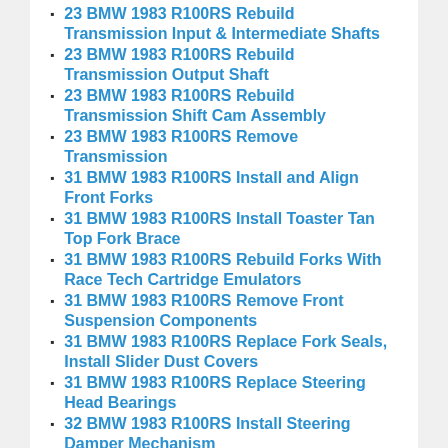23 BMW 1983 R100RS Rebuild Transmission Input & Intermediate Shafts
23 BMW 1983 R100RS Rebuild Transmission Output Shaft
23 BMW 1983 R100RS Rebuild Transmission Shift Cam Assembly
23 BMW 1983 R100RS Remove Transmission
31 BMW 1983 R100RS Install and Align Front Forks
31 BMW 1983 R100RS Install Toaster Tan Top Fork Brace
31 BMW 1983 R100RS Rebuild Forks With Race Tech Cartridge Emulators
31 BMW 1983 R100RS Remove Front Suspension Components
31 BMW 1983 R100RS Replace Fork Seals, Install Slider Dust Covers
31 BMW 1983 R100RS Replace Steering Head Bearings
32 BMW 1983 R100RS Install Steering Damper Mechanism
32 BMW 1983 R100RS Install Handlebar Perch